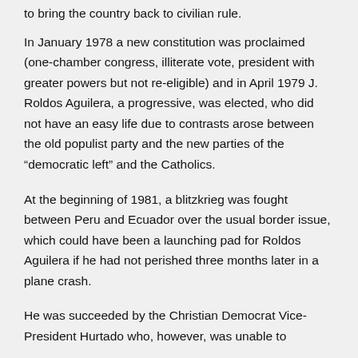to bring the country back to civilian rule.
In January 1978 a new constitution was proclaimed (one-chamber congress, illiterate vote, president with greater powers but not re-eligible) and in April 1979 J. Roldos Aguilera, a progressive, was elected, who did not have an easy life due to contrasts arose between the old populist party and the new parties of the “democratic left” and the Catholics.
At the beginning of 1981, a blitzkrieg was fought between Peru and Ecuador over the usual border issue, which could have been a launching pad for Roldos Aguilera if he had not perished three months later in a plane crash.
He was succeeded by the Christian Democrat Vice-President Hurtado who, however, was unable to